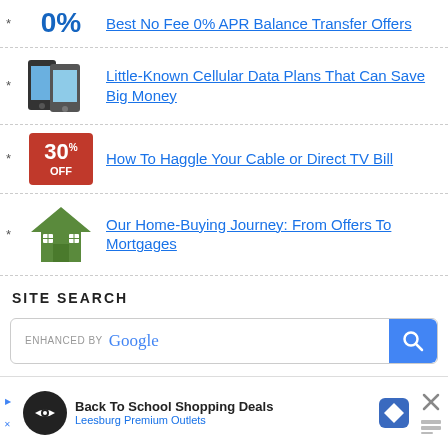Best No Fee 0% APR Balance Transfer Offers
Little-Known Cellular Data Plans That Can Save Big Money
How To Haggle Your Cable or Direct TV Bill
Our Home-Buying Journey: From Offers To Mortgages
SITE SEARCH
[Figure (screenshot): Google search bar with 'ENHANCED BY Google' label and blue search button with magnifying glass icon]
[Figure (screenshot): Advertisement banner: Back To School Shopping Deals - Leesburg Premium Outlets, with logo, diamond navigation icon, and close button]